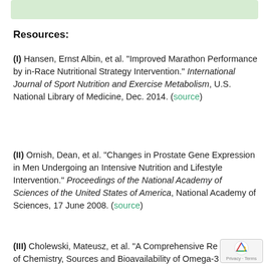[Figure (other): Green bar at top of page]
Resources:
(I) Hansen, Ernst Albin, et al. "Improved Marathon Performance by in-Race Nutritional Strategy Intervention." International Journal of Sport Nutrition and Exercise Metabolism, U.S. National Library of Medicine, Dec. 2014. (source)
(II) Ornish, Dean, et al. "Changes in Prostate Gene Expression in Men Undergoing an Intensive Nutrition and Lifestyle Intervention." Proceedings of the National Academy of Sciences of the United States of America, National Academy of Sciences, 17 June 2008. (source)
(III) Cholewski, Mateusz, et al. "A Comprehensive Re... of Chemistry, Sources and Bioavailability of Omega-3..."